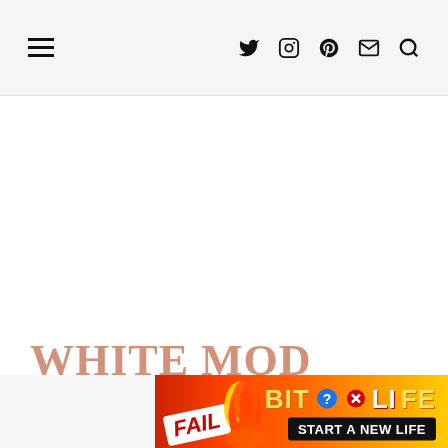Navigation header with hamburger menu and social icons: Twitter, Instagram, Pinterest, Mail, Search
WHITE MOD CHARCUTERIE BOARD
[Figure (screenshot): Advertisement banner for BitLife game showing FAIL text, cartoon character, flames, and 'START A NEW LIFE' text on red/orange background]